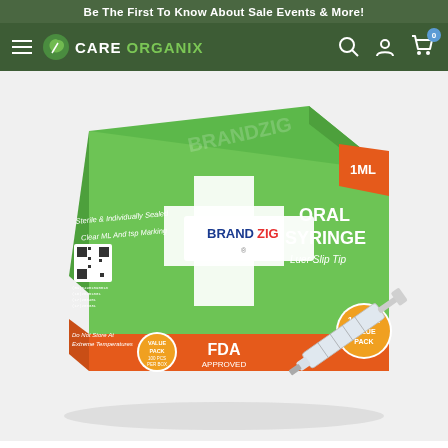Be The First To Know About Sale Events & More!
[Figure (logo): Care Organix navigation bar with hamburger menu, logo with leaf icon, CARE ORGANIX text, search icon, account icon, cart icon with badge showing 0]
[Figure (photo): BrandZig Oral Syringe 1ML Luer Slip Tip product box — green and orange colored cardboard box. Box text includes: Sterile & Individually Sealed, Clear ML And tsp Marking, ORAL SYRINGE, Luer Slip Tip, 1ML (top right orange corner), BRANDZIG logo with cross, QR code on left side, Do Not Store At Extreme Temperatures, VALUE PACK 100 PCS PER BOX badge, 100 PC. VALUE PACK badge, FDA APPROVED footer. A syringe is visible protruding from the right side of the box.]